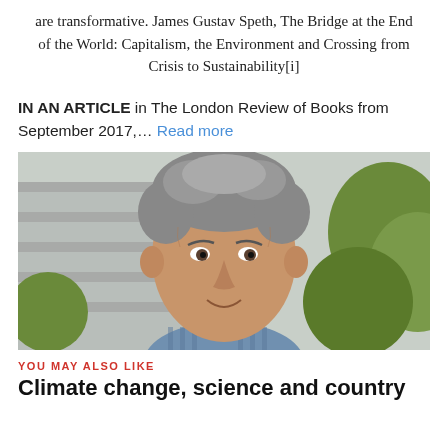are transformative. James Gustav Speth, The Bridge at the End of the World: Capitalism, the Environment and Crossing from Crisis to Sustainability[i]
IN AN ARTICLE in The London Review of Books from September 2017,... Read more
[Figure (photo): Portrait photograph of a middle-aged man with grey curly hair, wearing a blue striped shirt, photographed outdoors with blurred architectural and green foliage background.]
YOU MAY ALSO LIKE
Climate change, science and country